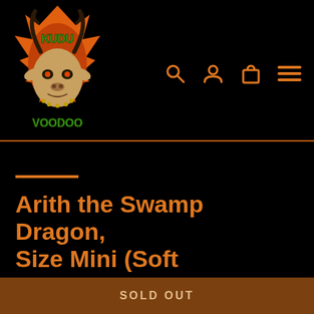[Figure (logo): Kudu Voodoo logo — stylized kudu head with horns and green/orange flame design, text reads 'Kudu Voodoo']
Search, Account, Cart, Menu icons
Arith the Swamp Dragon, Size Mini (Soft Firmness)
$21.00
SOLD OUT